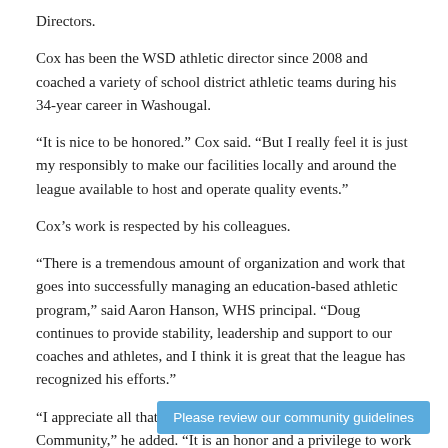Directors.
Cox has been the WSD athletic director since 2008 and coached a variety of school district athletic teams during his 34-year career in Washougal.
“It is nice to be honored.” Cox said. “But I really feel it is just my responsibly to make our facilities locally and around the league available to host and operate quality events.”
Cox’s work is respected by his colleagues.
“There is a tremendous amount of organization and work that goes into successfully managing an education-based athletic program,” said Aaron Hanson, WHS principal. “Doug continues to provide stability, leadership and support to our coaches and athletes, and I think it is great that the league has recognized his efforts.”
“I appreciate all that Doug does for the Washougal Community,” he added. “It is an honor and a privilege to work with Doug and he certainly deserves this recognition.”
Please review our community guidelines